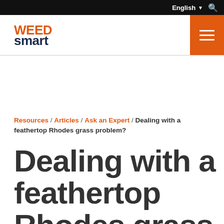English
[Figure (logo): WEEDsmart logo with orange WEED text and dark navy smart text]
Resources / Articles / Ask an Expert / Dealing with a feathertop Rhodes grass problem?
Dealing with a feathertop Rhodes grass